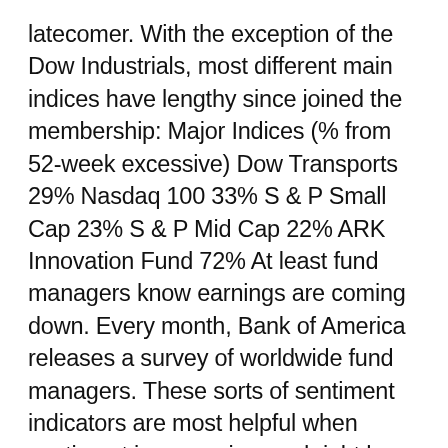latecomer. With the exception of the Dow Industrials, most different main indices have lengthy since joined the membership: Major Indices (% from 52-week excessive) Dow Transports 29% Nasdaq 100 33% S & P Small Cap 23% S & P Mid Cap 22% ARK Innovation Fund 72% At least fund managers know earnings are coming down. Every month, Bank of America releases a survey of worldwide fund managers. These sorts of sentiment indicators are most helpful when sentiment is excessive, and right here we've got some fairly excessive readings. The June survey exhibits pessimism throughout the board: 72% consider world earnings will weaken, the worst studying since September 2008, which was the peak of the Great Financial Crisis. The hottest description of what the financial backdrop shall be within the subsequent 12 months is “stagflation” (83%, up from 77%), the best